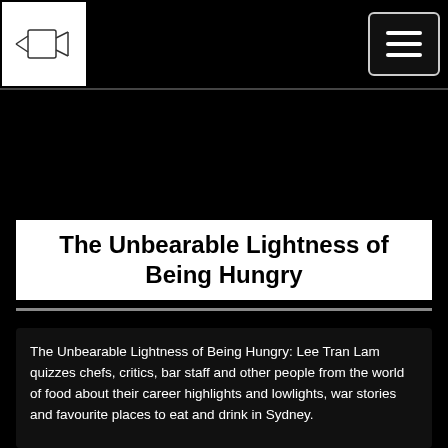[Figure (logo): Small logo sketch image in white box at top left of navigation bar]
The Unbearable Lightness of Being Hungry
The Unbearable Lightness of Being Hungry: Lee Tran Lam quizzes chefs, critics, bar staff and other people from the world of food about their career highlights and lowlights, war stories and favourite places to eat and drink in Sydney.